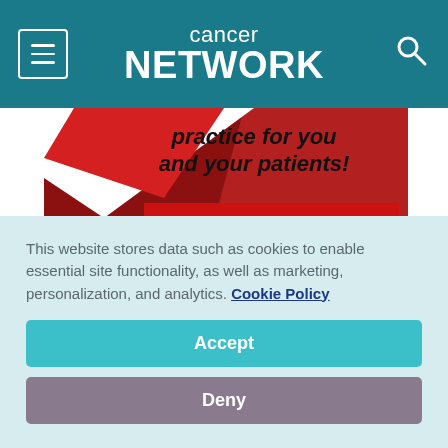cancer network
[Figure (photo): Advertisement banner showing red geometric design with text 'practice for you and your patients!' and 'Register today!' button]
This website stores data such as cookies to enable essential site functionality, as well as marketing, personalization, and analytics. Cookie Policy
Accept
Deny